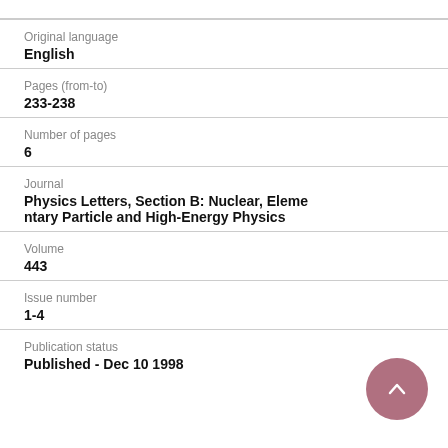Original language
English
Pages (from-to)
233-238
Number of pages
6
Journal
Physics Letters, Section B: Nuclear, Elementary Particle and High-Energy Physics
Volume
443
Issue number
1-4
Publication status
Published - Dec 10 1998